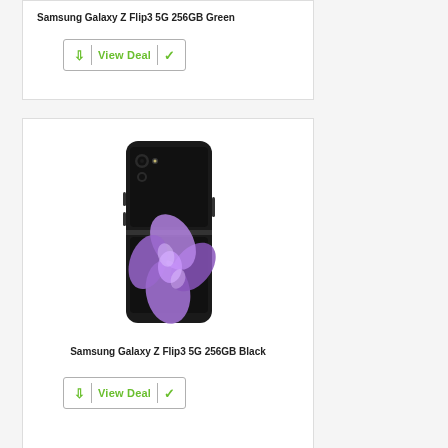Samsung Galaxy Z Flip3 5G 256GB Green
[Figure (photo): View Deal button with green arrow down icon, green text 'View Deal', and green checkmark]
[Figure (photo): Samsung Galaxy Z Flip3 5G 256GB Black smartphone product photo showing the phone folded open with purple flower design on screen]
Samsung Galaxy Z Flip3 5G 256GB Black
[Figure (photo): View Deal button with green arrow down icon, green text 'View Deal', and green checkmark]
[Figure (photo): Samsung Galaxy Z Flip3 5G 256GB Lavender/Purple smartphone product photo, partially visible at bottom of page]